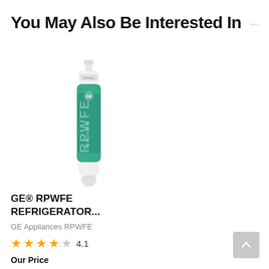You May Also Be Interested In
[Figure (photo): GE RPWFE refrigerator water filter — cylindrical filter with teal/green label showing 'RPWFE' text, white top and bottom connectors]
GE® RPWFE REFRIGERATOR...
GE Appliances RPWFE
★★★★☆ 4.1
Our Price
$244